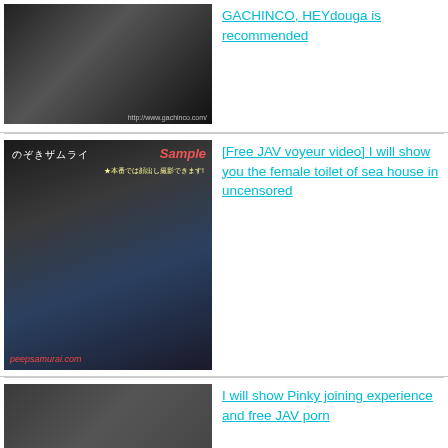[Figure (photo): Thumbnail image from GACHINCO adult video site]
GACHINCO, HEYdouga is recommended
[Figure (photo): Thumbnail image from peepsamurai voyeur site with Sample watermark]
[Free JAV voyeur video] I will show you the female toilet of sea house in uncensored
[Figure (photo): Thumbnail image placeholder for third entry]
I will show Pinky joining experience and free JAV porn